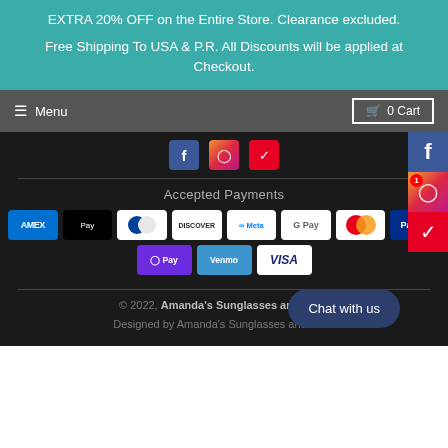EXTRA 20% OFF on the Entire Store. Clearance excluded.
Free Shipping To USA & P.R. All Discounts will be applied at Checkout.
Menu   0 Cart
[Figure (other): Social media icons row: Facebook, Instagram, Pinterest]
Accepted Payments
[Figure (other): Payment method logos: Amex, Apple Pay, Diners Club, Discover, Meta Pay, Google Pay, Mastercard, PayPal, OPay, Venmo, Visa]
© 2022, Amanda's Sunglasses and More
Designed by Amanda's Sunglasses and More
[Figure (other): Side social media buttons: Facebook, Instagram (with notification badge), Pinterest]
Chat with us